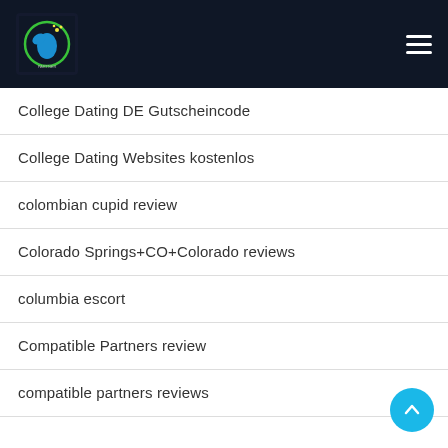Navigation header with logo and hamburger menu
College Dating DE Gutscheincode
College Dating Websites kostenlos
colombian cupid review
Colorado Springs+CO+Colorado reviews
columbia escort
Compatible Partners review
compatible partners reviews